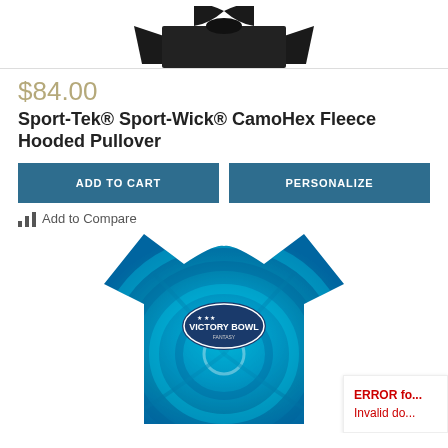[Figure (photo): Top portion of a black CamoHex fleece hooded pullover product image]
$84.00
Sport-Tek® Sport-Wick® CamoHex Fleece Hooded Pullover
ADD TO CART
PERSONALIZE
Add to Compare
[Figure (photo): Blue tie-dye t-shirt with Victory Bowl logo printed on the chest]
ERROR fo... Invalid do...